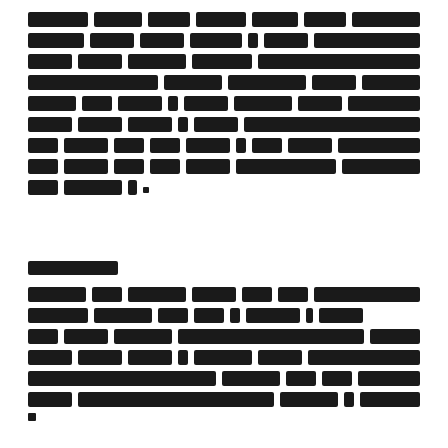[Redacted paragraph text in non-Latin script, approximately 10 lines]
[Redacted section header in non-Latin script]
[Redacted paragraph text in non-Latin script, approximately 5 lines visible]